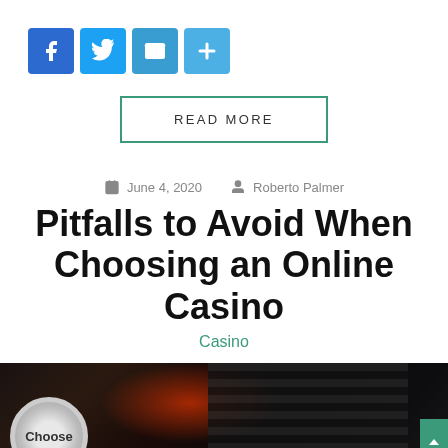[Figure (other): Social sharing icons: Facebook (blue), Twitter (light blue), Mail (blue), Plus/share (light blue)]
READ MORE
June 4, 2020   Roberto Palmer
Pitfalls to Avoid When Choosing an Online Casino
Casino
[Figure (photo): Photo of casino chips and a laptop keyboard with red lighting, with the word 'Choose' partially visible]